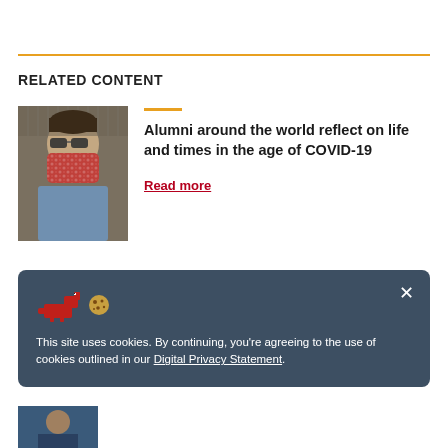RELATED CONTENT
[Figure (photo): Person wearing floral red face mask and sunglasses, photographed outdoors]
Alumni around the world reflect on life and times in the age of COVID-19
Read more
This site uses cookies. By continuing, you're agreeing to the use of cookies outlined in our Digital Privacy Statement.
[Figure (photo): Partial photo at bottom of page, person in blue clothing]